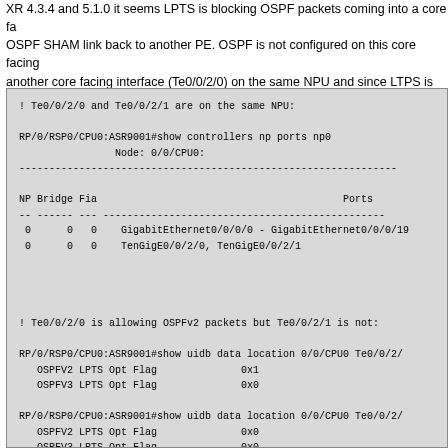XR 4.3.4 and 5.1.0 it seems LPTS is blocking OSPF packets coming into a core facing interface with an OSPF SHAM link back to another PE. OSPF is not configured on this core facing interface (Te0/0/2/1) but another core facing interface (Te0/0/2/0) on the same NPU and since LTPS is operating per NPU, OSPF will be allowed into this interface (Te0/0/2/1).
[Figure (screenshot): Terminal output showing: Te0/0/2/0 and Te0/0/2/1 are on the same NPU. RP/0/RSP0/CPU0:ASR9001#show controllers np ports np0, Node: 0/0/CPU0: with NP Bridge Fia Ports table showing GigabitEthernet0/0/0/0 - GigabitEthernet0/0/0/19 and TenGigE0/0/2/0, TenGigE0/0/2/1 on NP 0 Bridge 0 Fia 0. Also shows OSPFv2/v3 LPTS Opt Flag values for Te0/0/2/0 and Te0/0/2/1.]